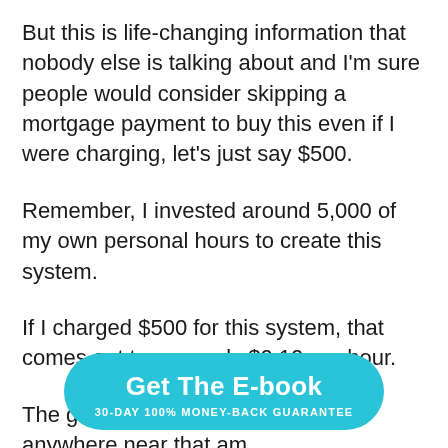But this is life-changing information that nobody else is talking about and I'm sure people would consider skipping a mortgage payment to buy this even if I were charging, let's just say $500.
Remember, I invested around 5,000 of my own personal hours to create this system.
If I charged $500 for this system, that comes out to a measly $0.10 per hour.
The good news is, I'm not charging anywhere near that am
[Figure (other): Cyan rounded button with bold white text 'Get The E-book' and subtext '30-DAY 100% MONEY-BACK GUARANTEE']